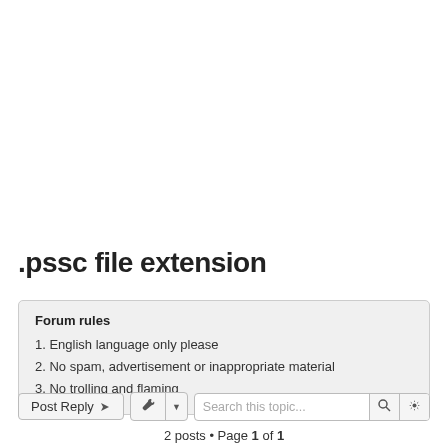.pssc file extension
Forum rules
1. English language only please
2. No spam, advertisement or inappropriate material
3. No trolling and flaming
2 posts • Page 1 of 1